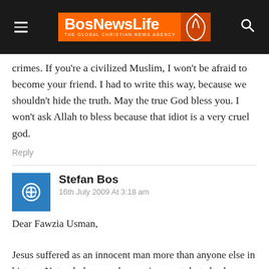BosNewsLife — THE GLOBAL CHRISTIAN NEWS AGENCY
crimes. If you're a civilized Muslim, I won't be afraid to become your friend. I had to write this way, because we shouldn't hide the truth. May the true God bless you. I won't ask Allah to bless because that idiot is a very cruel god.
Reply
Stefan Bos
16th July 2009 At 3:18 am
Dear Fawzia Usman,

Jesus suffered as an innocent man more than anyone else in history. Not only because he was innocent, but also because he took the entire sins and pain of the whole world on his shoulders. I don't know how healthy he was. Although he lived a life without sins, the Bible talks about his human nature, when his tears even...